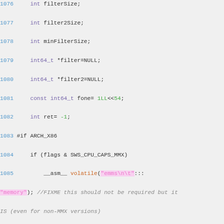[Figure (screenshot): Source code listing in C with syntax highlighting, lines 1076-1095, showing variable declarations, preprocessor directives, inline assembly with volatile keyword, and memory allocation calls.]